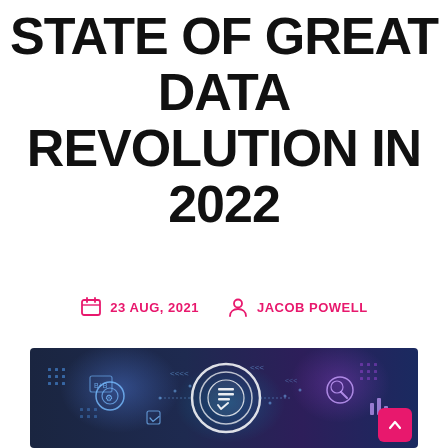STATE OF GREAT DATA REVOLUTION IN 2022
23 AUG, 2021   JACOB POWELL
[Figure (photo): Technology digital data visualization illustration with icons, circles, and network graphics on a dark blue/purple blurred background. A pink scroll-to-top button appears in the bottom right corner.]